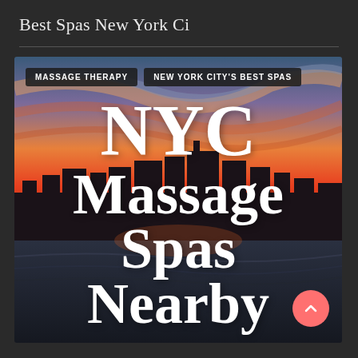Best Spas New York Ci
[Figure (photo): NYC skyline silhouette at sunset with dramatic orange and pink sky over water, overlaid with large white serif text reading 'NYC Massage Spas Nearby'. Two dark tag labels at top read 'MASSAGE THERAPY' and 'NEW YORK CITY'S BEST SPAS'. A pink/coral circular scroll-up button is in the bottom right.]